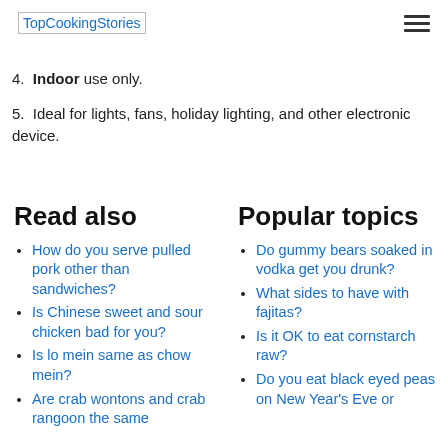TopCookingStories
4. Indoor use only.
5. Ideal for lights, fans, holiday lighting, and other electronic device.
Read also
How do you serve pulled pork other than sandwiches?
Is Chinese sweet and sour chicken bad for you?
Is lo mein same as chow mein?
Are crab wontons and crab rangoon the same
Popular topics
Do gummy bears soaked in vodka get you drunk?
What sides to have with fajitas?
Is it OK to eat cornstarch raw?
Do you eat black eyed peas on New Year's Eve or